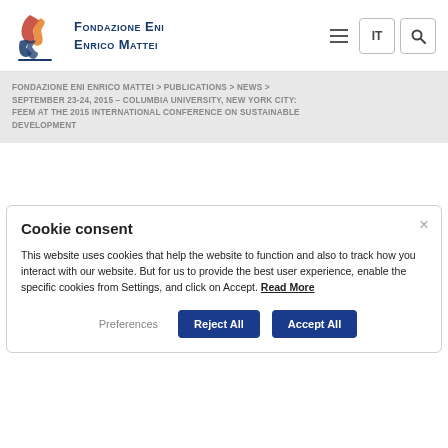Fondazione Eni Enrico Mattei
FONDAZIONE ENI ENRICO MATTEI > PUBLICATIONS > NEWS > SEPTEMBER 23-24, 2015 – COLUMBIA UNIVERSITY, NEW YORK CITY: FEEM AT THE 2015 INTERNATIONAL CONFERENCE ON SUSTAINABLE DEVELOPMENT
Cookie consent
This website uses cookies that help the website to function and also to track how you interact with our website. But for us to provide the best user experience, enable the specific cookies from Settings, and click on Accept. Read More